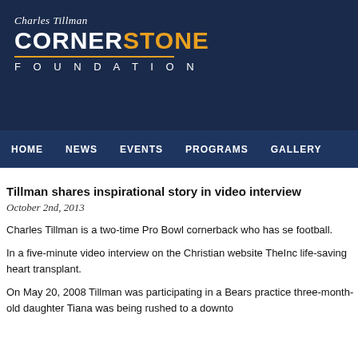[Figure (logo): Charles Tillman Cornerstone Foundation logo — cursive 'Charles Tillman' above bold 'CORNERSTONE' (white and gold) with gold divider line and spaced 'FOUNDATION' below, on dark navy background]
HOME  NEWS  EVENTS  PROGRAMS  GALLERY
Tillman shares inspirational story in video interview
October 2nd, 2013
Charles Tillman is a two-time Pro Bowl cornerback who has se football.
In a five-minute video interview on the Christian website TheInc life-saving heart transplant.
On May 20, 2008 Tillman was participating in a Bears practice three-month-old daughter Tiana was being rushed to a downto